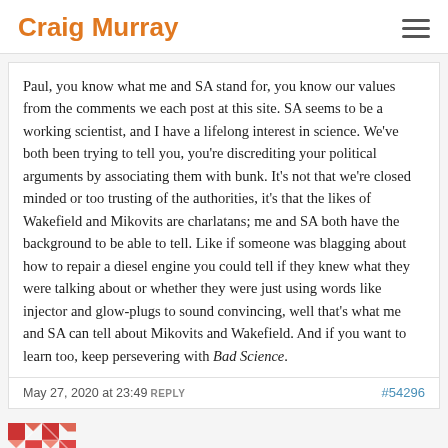Craig Murray
Paul, you know what me and SA stand for, you know our values from the comments we each post at this site. SA seems to be a working scientist, and I have a lifelong interest in science. We've both been trying to tell you, you're discrediting your political arguments by associating them with bunk. It's not that we're closed minded or too trusting of the authorities, it's that the likes of Wakefield and Mikovits are charlatans; me and SA both have the background to be able to tell. Like if someone was blagging about how to repair a diesel engine you could tell if they knew what they were talking about or whether they were just using words like injector and glow-plugs to sound convincing, well that's what me and SA can tell about Mikovits and Wakefield. And if you want to learn too, keep persevering with Bad Science.
May 27, 2020 at 23:49 REPLY #54296
Paul Barbara